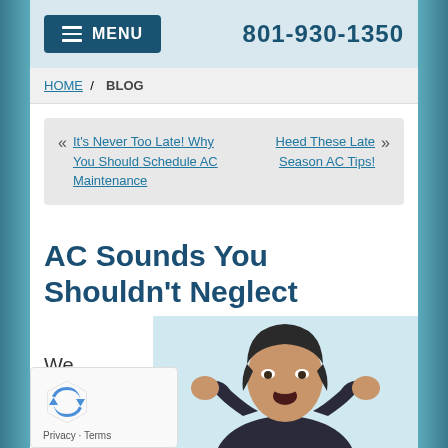MENU | 801-930-1350
HOME / BLOG
« It's Never Too Late! Why You Should Schedule AC Maintenance
Heed These Late Season AC Tips! »
AC Sounds You Shouldn't Neglect
We may not have
[Figure (photo): Woman with short dark hair covering her ears with hands and mouth open in shock/surprise, wearing a dark shirt, against a light blue background]